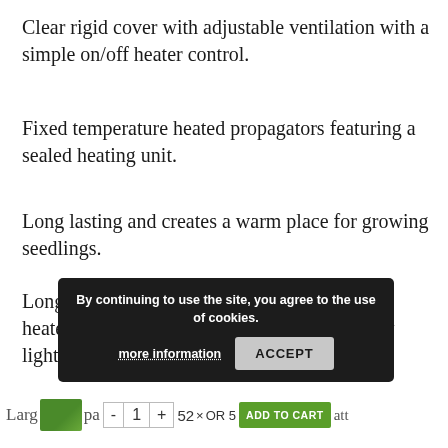Clear rigid cover with adjustable ventilation with a simple on/off heater control.
Fixed temperature heated propagators featuring a sealed heating unit.
Long lasting and creates a warm place for growing seedlings.
Long life 8 watt (Medium) & 22 watt (Large) heater, which uses less power than an ordinary light bulb.
Available in 2 sizes :
Medium Propagator – 38… x 62… x 21.5cm – 8 watt heater
[Figure (screenshot): Cookie consent banner overlay with text 'By continuing to use the site, you agree to the use of cookies.' with 'more information' link and 'ACCEPT' button]
Large… – … - 1 + 52… x OR 5… ADD TO CART …att